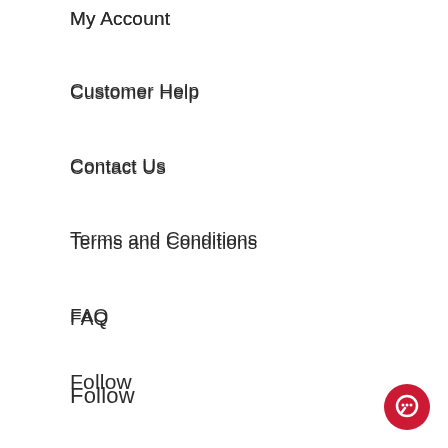My Account
Customer Help
Contact Us
Terms and Conditions
FAQ
Follow
Facebook
Twitter
Instagram
Pinterest
Sign Up
[Figure (illustration): Red circular chat/messaging button icon in bottom-right corner]